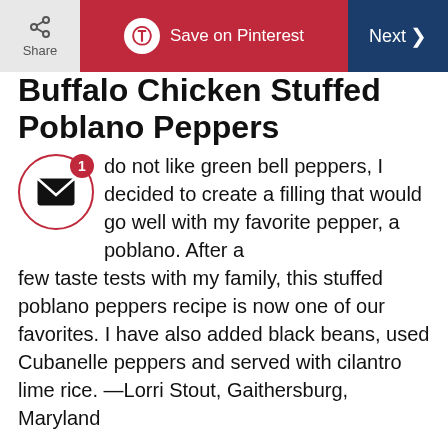Share | Save on Pinterest | Next
Buffalo Chicken Stuffed Poblano Peppers
do not like green bell peppers, I decided to create a filling that would go well with my favorite pepper, a poblano. After a few taste tests with my family, this stuffed poblano peppers recipe is now one of our favorites. I have also added black beans, used Cubanelle peppers and served with cilantro lime rice. —Lorri Stout, Gaithersburg, Maryland
Go to Recipe